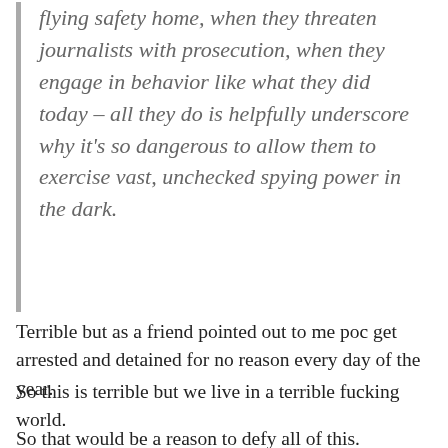flying safety home, when they threaten journalists with prosecution, when they engage in behavior like what they did today – all they do is helpfully underscore why it's so dangerous to allow them to exercise vast, unchecked spying power in the dark.
Terrible but as a friend pointed out to me poc get arrested and detained for no reason every day of the year.
So this is terrible but we live in a terrible fucking world.
So that would be a reason to defy all of this.
Detaining someone…